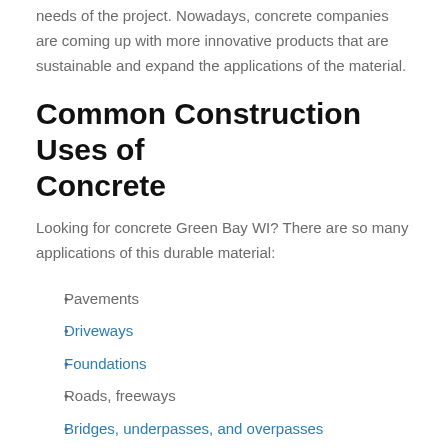needs of the project. Nowadays, concrete companies are coming up with more innovative products that are sustainable and expand the applications of the material.
Common Construction Uses of Concrete
Looking for concrete Green Bay WI? There are so many applications of this durable material:
Pavements
Driveways
Foundations
Roads, freeways
Bridges, underpasses, and overpasses
Parking lots
Walls